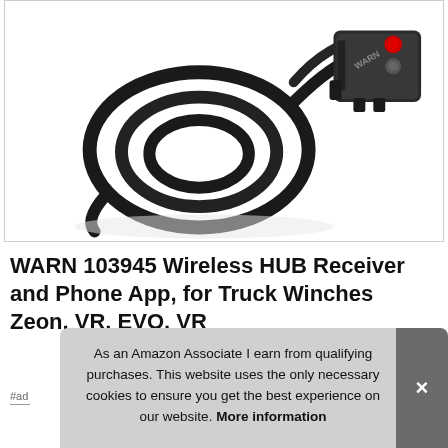[Figure (photo): Product photo of WARN 103945 Wireless HUB Receiver — a coiled black cable with a rectangular black connector/module featuring a red button and a grey button on top, on a white background inside a bordered box.]
WARN 103945 Wireless HUB Receiver and Phone App, for Truck Winches Zeon, VR, EVO, VR
#ad
As an Amazon Associate I earn from qualifying purchases. This website uses the only necessary cookies to ensure you get the best experience on our website. More information